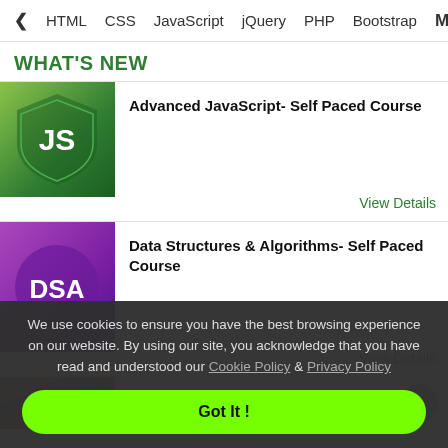< HTML  CSS  JavaScript  jQuery  PHP  Bootstrap  M>
WHAT'S NEW
Advanced JavaScript- Self Paced Course
View Details
Data Structures & Algorithms- Self Paced Course
View Details
We use cookies to ensure you have the best browsing experience on our website. By using our site, you acknowledge that you have read and understood our Cookie Policy & Privacy Policy
Got It !